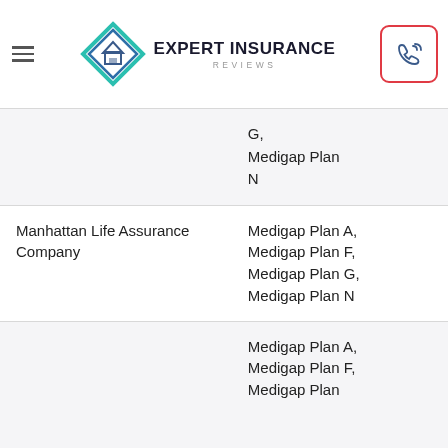Expert Insurance Reviews
| Company | Plans |
| --- | --- |
|  | G,
Medigap Plan N |
| Manhattan Life Assurance Company | Medigap Plan A,
Medigap Plan F,
Medigap Plan G,
Medigap Plan N |
|  | Medigap Plan A,
Medigap Plan F,
Medigap Plan... |